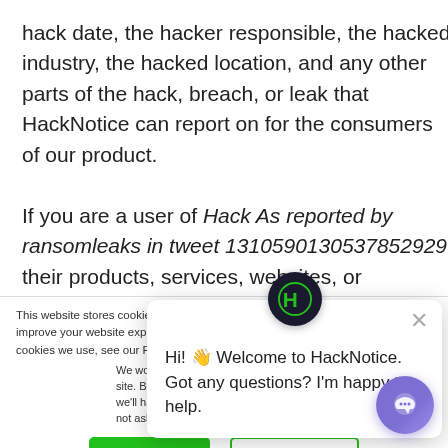hack date, the hacker responsible, the hacked industry, the hacked location, and any other parts of the hack, breach, or leak that HackNotice can report on for the consumers of our product.
If you are a user of Hack As reported by ransomleaks in tweet 1310590130537852929 their products, services, websites, or applications and you were a
This website stores cookies on your computer. These are used to improve your website experience you, both on this website and through cookies we use, see our Privacy P
We won't track your site. But in order to we'll have to use jus not asked to make this choice again.
Hi! 👋 Welcome to HackNotice. Got any questions? I'm happy to help.